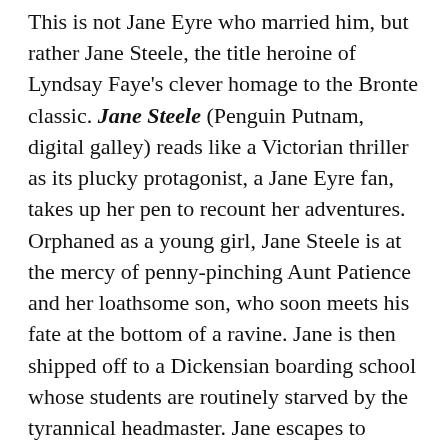This is not Jane Eyre who married him, but rather Jane Steele, the title heroine of Lyndsay Faye's clever homage to the Bronte classic. Jane Steele (Penguin Putnam, digital galley) reads like a Victorian thriller as its plucky protagonist, a Jane Eyre fan, takes up her pen to recount her adventures. Orphaned as a young girl, Jane Steele is at the mercy of penny-pinching Aunt Patience and her loathsome son, who soon meets his fate at the bottom of a ravine. Jane is then shipped off to a Dickensian boarding school whose students are routinely starved by the tyrannical headmaster. Jane escapes to London, eventually learning that her aunt has died and that Highgate House — Jane's rightful inheritance — is in the hands of Mr. Charles Thornfield, who is in need of a governess. Jane, of course, applies for the position. Faye, author of several historical thrillers, subverts Bronte's plot